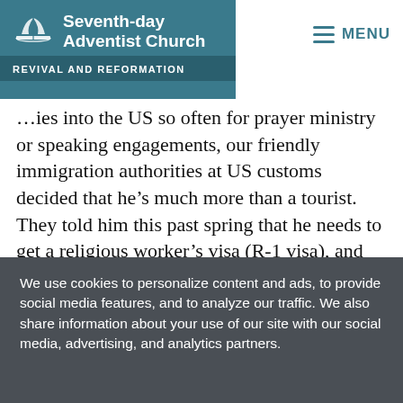[Figure (logo): Seventh-day Adventist Church Revival and Reformation logo with teal background]
…ies into the US so often for prayer ministry or speaking engagements, our friendly immigration authorities at US customs decided that he's much more than a tourist. They told him this past spring that he needs to get a religious worker's visa (R-1 visa), and that he can't come back into the US without one. This provided a real problem for him, for up to this point, Gem has been living as a modern day George Müller, traveling and working completely by faith. He receives salary from no one, and tells no one his
We use cookies to personalize content and ads, to provide social media features, and to analyze our traffic. We also share information about your use of our site with our social media, advertising, and analytics partners.